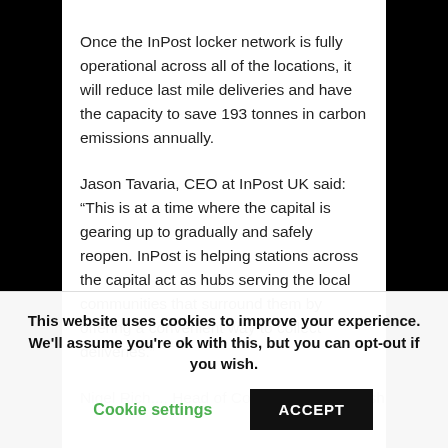Once the InPost locker network is fully operational across all of the locations, it will reduce last mile deliveries and have the capacity to save 193 tonnes in carbon emissions annually.
Jason Tavaria, CEO at InPost UK said: “This is at a time where the capital is gearing up to gradually and safely reopen. InPost is helping stations across the capital act as hubs serving the local communities that surround them by offering a convenient way to collect deliveries.”
Nigel Rich..., Head of Commercial Partnerships at TfL...
This website uses cookies to improve your experience. We'll assume you're ok with this, but you can opt-out if you wish.
Cookie settings
ACCEPT